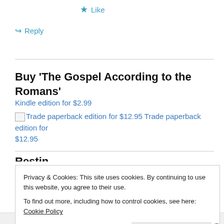★ Like
↪ Reply
Buy 'The Gospel According to the Romans'
Kindle edition for $2.99
Trade paperback edition for $12.95 Trade paperback edition for $12.95
Privacy & Cookies: This site uses cookies. By continuing to use this website, you agree to their use.
To find out more, including how to control cookies, see here: Cookie Policy
Close and accept